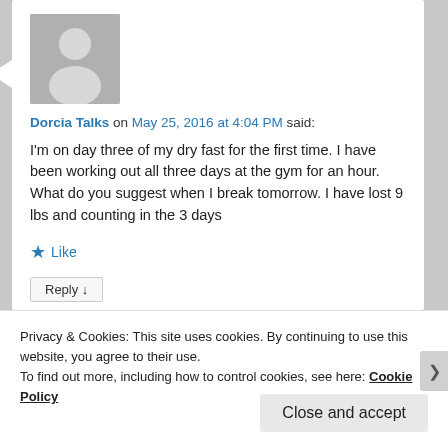[Figure (illustration): Default user avatar: grey square with white person silhouette]
Dorcia Talks on May 25, 2016 at 4:04 PM said:
I'm on day three of my dry fast for the first time. I have been working out all three days at the gym for an hour. What do you suggest when I break tomorrow. I have lost 9 lbs and counting in the 3 days
★ Like
Reply ↓
Privacy & Cookies: This site uses cookies. By continuing to use this website, you agree to their use.
To find out more, including how to control cookies, see here: Cookie Policy
Close and accept